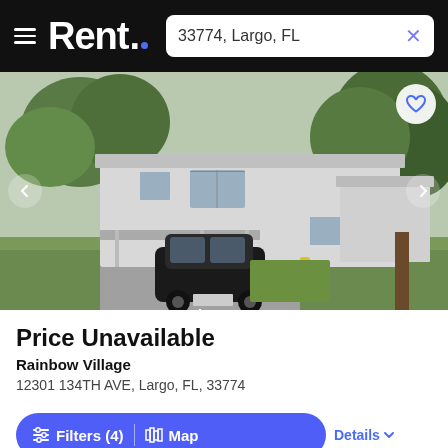Rent. — 33774, Largo, FL
[Figure (photo): Exterior photo of Rainbow Village apartment complex showing a two-story white/gray building with carport, a black SUV parked in front, green lawn, and trees. Navigation arrows on left and right, heart/favorites button top right.]
Price Unavailable
Rainbow Village
12301 134TH AVE, Largo, FL, 33774
Filters (4) | Map
Details